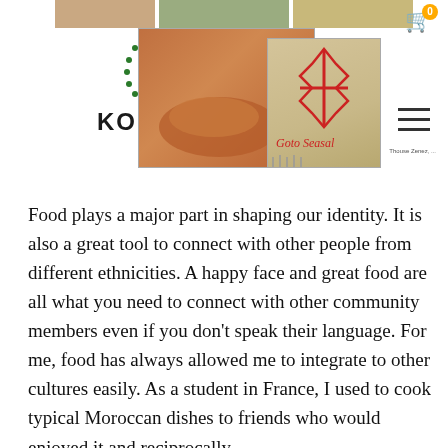[Figure (photo): Website header with Koutchi logo (geometric Moroccan-style pattern with text KOUTCHI), photos of tagine/pottery and burlap/seasoning bag, shopping cart icon with badge showing 0, hamburger menu icon, and small navigation text]
Food plays a major part in shaping our identity. It is also a great tool to connect with other people from different ethnicities. A happy face and great food are all what you need to connect with other community members even if you don't speak their language. For me, food has always allowed me to integrate to other cultures easily. As a student in France, I used to cook typical Moroccan dishes to friends who would enjoyed it and reciprocally